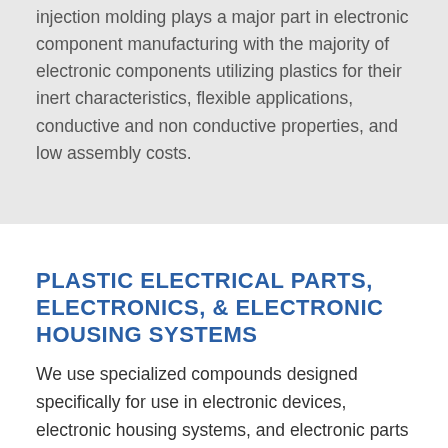injection molding plays a major part in electronic component manufacturing with the majority of electronic components utilizing plastics for their inert characteristics, flexible applications, conductive and non conductive properties, and low assembly costs.
PLASTIC ELECTRICAL PARTS, ELECTRONICS, & ELECTRONIC HOUSING SYSTEMS
We use specialized compounds designed specifically for use in electronic devices, electronic housing systems, and electronic parts including RF shielding and other specialty